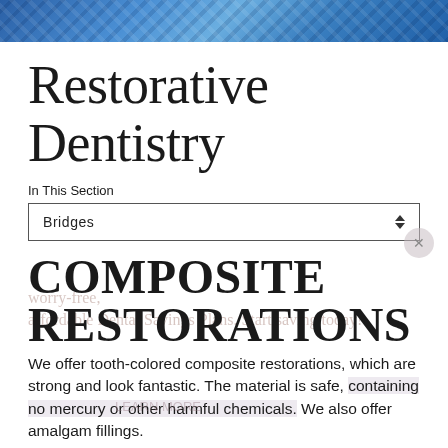[Figure (photo): Blue patterned dental/medical background banner image at top of page]
Restorative Dentistry
In This Section
Bridges
COMPOSITE RESTORATIONS
We offer tooth-colored composite restorations, which are strong and look fantastic. The material is safe, containing no mercury or other harmful chemicals. We also offer amalgam fillings.